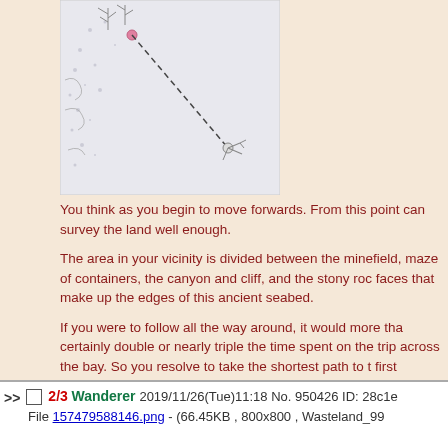[Figure (map): A map/diagram showing a path as a dashed line from an upper-left point to a lower-right point crossing a landscape area with terrain features.]
You think as you begin to move forwards. From this point can survey the land well enough.

The area in your vicinity is divided between the minefield, maze of containers, the canyon and cliff, and the stony roc faces that make up the edges of this ancient seabed.

If you were to follow all the way around, it would more tha certainly double or nearly triple the time spent on the trip across the bay. So you resolve to take the shortest path to t first landmark, a straight line.
>> 2/3 Wanderer 2019/11/26(Tue)11:18 No. 950426 ID: 28c1e File 157479588146.png - (66.45KB , 800x800 , Wasteland_99